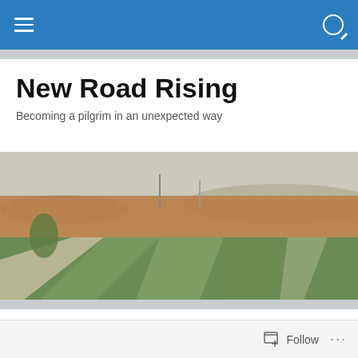Navigation bar with hamburger menu and search icon
New Road Rising
Becoming a pilgrim in an unexpected way
[Figure (photo): Landscape painting showing a winding road or river through flat fields with reeds and distant hills, muted earth tones of green, brown, and grey]
It was a good week
[Figure (photo): Partial thumbnail of a grey/white photograph, partially visible at the bottom of the page]
Follow ···